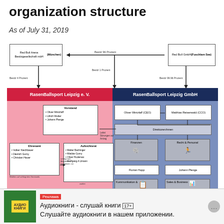organization structure
As of July 31, 2019
[Figure (organizational-chart): Organizational chart for RasenBallsport Leipzig e.V. and RasenBallsport Leipzig GmbH as of July 31, 2019. Shows top-level entities: Red Bull Arena Besitzgesellschaft mbH (München) and Red Bull GmbH (Fuschlam See) with ownership percentages connecting to two main bodies: RasenBallsport Leipzig e.V. (left, pink) with Vorstand (Oliver Mintzlaff, Ulrich Wolter, Johann Plenge), Ehrenamt, and Aufsichtsrat bodies; and RasenBallsport Leipzig GmbH (right, blue) with CEO Oliver Mintzlaff, CCO Matthias Reisenwald, Direktoren row, and department boxes including Finanzen, Recht & Personal, Florian Hopp, Johann Lange, Kommunikation &, Sales & Business.]
Реклама
Аудиокниги - слушай книги 17+
Слушайте аудиокниги в нашем приложении.